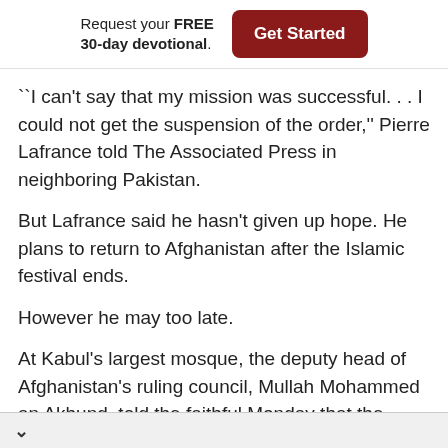[Figure (screenshot): Banner ad with text 'Request your FREE 30-day devotional.' and a red 'Get Started' button]
``I can't say that my mission was successful. . . I could not get the suspension of the order,'' Pierre Lafrance told The Associated Press in neighboring Pakistan.
But Lafrance said he hasn't given up hope. He plans to return to Afghanistan after the Islamic festival ends.
However he may too late.
At Kabul's largest mosque, the deputy head of Afghanistan's ruling council, Mullah Mohammed an Akhund, told the faithful Monday that the